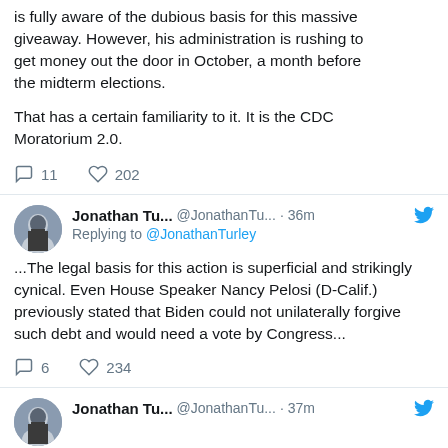...is fully aware of the dubious basis for this massive giveaway. However, his administration is rushing to get money out the door in October, a month before the midterm elections.

That has a certain familiarity to it. It is the CDC Moratorium 2.0.
11 comments, 202 likes
Jonathan Tu... @JonathanTu... · 36m — Replying to @JonathanTurley — ...The legal basis for this action is superficial and strikingly cynical. Even House Speaker Nancy Pelosi (D-Calif.) previously stated that Biden could not unilaterally forgive such debt and would need a vote by Congress...
6 comments, 234 likes
Jonathan Tu... @JonathanTu... · 37m — In 1987, President Reagan made history in